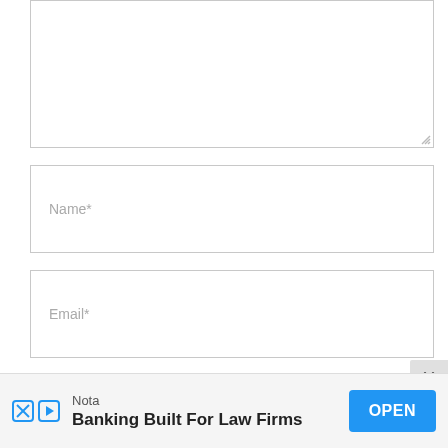[Figure (screenshot): A web form showing a textarea (comment box, partially visible at top), followed by Name*, Email*, and Website input fields, two checkbox rows for email notification, an X close button, and an advertisement banner for Nota at the bottom reading 'Banking Built For Law Firms' with an OPEN button.]